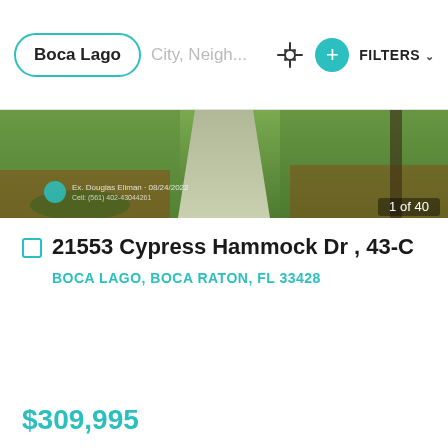Boca Lago | City, Neigh... | FILTERS
[Figure (photo): Exterior property photo showing grass lawn with concrete path/walkway, taken 08/24/2022. Image counter shows 1 of 40.]
21553 Cypress Hammock Dr , 43-C
BOCA LAGO, BOCA RATON, FL 33428
$309,995
2 Beds  |  2 Baths
Listing Courtesy of One Sotheby's Int'l Realty, Maria